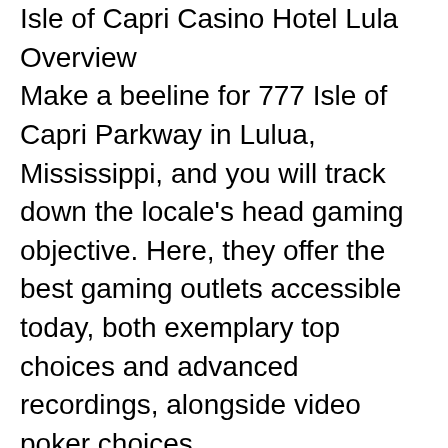Isle of Capri Casino Hotel Lula Overview
Make a beeline for 777 Isle of Capri Parkway in Lulua, Mississippi, and you will track down the locale's head gaming objective. Here, they offer the best gaming outlets accessible today, both exemplary top choices and advanced recordings, alongside video poker choices.
They likewise have a strong number of table games assuming that you're more into the cards or dice instead of electronic gaming.
You will track down three spots to eat at the club, from relaxed scenes to light meal choices. They offer nothing upscale. Yet, if an area like eating experience is something you want over